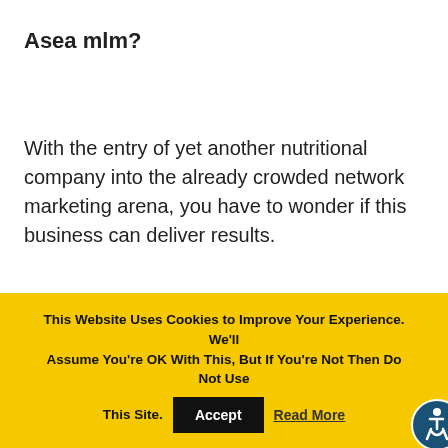Asea mlm?
With the entry of yet another nutritional company into the already crowded network marketing arena, you have to wonder if this business can deliver results.
If you’ve been involved in the network
This Website Uses Cookies to Improve Your Experience. We'll Assume You're OK With This, But If You're Not Then Do Not Use This Site. Accept Read More